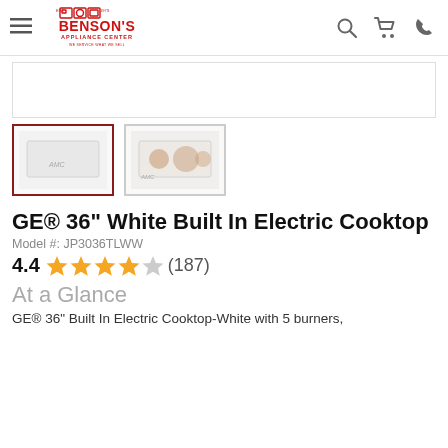Benson's Appliance Center
[Figure (photo): Main product image area - white cooktop (blank/loading)]
[Figure (photo): Thumbnail 1: white cooktop front view, selected (red border)]
[Figure (photo): Thumbnail 2: cooktop with visible burners/coils]
GE® 36" White Built In Electric Cooktop
Model #: JP3036TLWW
4.4 ★★★★☆ (187)
At a Glance
GE® 36" Built In Electric Cooktop-White with 5 burners,